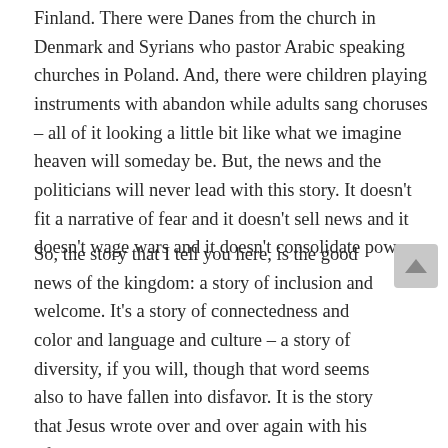Finland. There were Danes from the church in Denmark and Syrians who pastor Arabic speaking churches in Poland. And, there were children playing instruments with abandon while adults sang choruses – all of it looking a little bit like what we imagine heaven will someday be. But, the news and the politicians will never lead with this story. It doesn't fit a narrative of fear and it doesn't sell news and it doesn't wage wars and it doesn't consolidate power.
So, the story that I tell you here, is the good news of the kingdom: a story of inclusion and welcome. It's a story of connectedness and color and language and culture – a story of diversity, if you will, though that word seems also to have fallen into disfavor. It is the story that Jesus wrote over and over again with his life and his actions and his words.